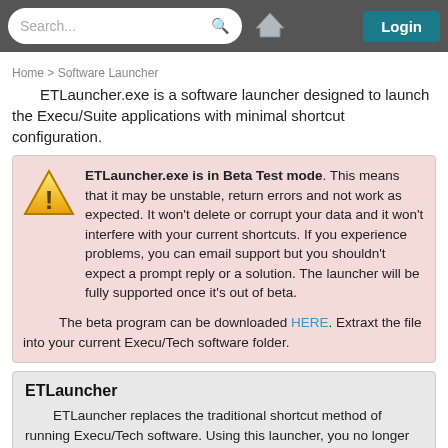Search... Login
Home > Software Launcher
ETLauncher.exe is a software launcher designed to launch the Execu/Suite applications with minimal shortcut configuration.
ETLauncher.exe is in Beta Test mode. This means that it may be unstable, return errors and not work as expected. It won't delete or corrupt your data and it won't interfere with your current shortcuts. If you experience problems, you can email support but you shouldn't expect a prompt reply or a solution. The launcher will be fully supported once it's out of beta.

The beta program can be downloaded HERE. Extraxt the file into your current Execu/Tech software folder.
ETLauncher
ETLauncher replaces the traditional shortcut method of running Execu/Tech software. Using this launcher, you no longer need to worry about editing the target, command line, etc. The launcher is also very helpful in a Remote Desktop environment because each user simply needs to run the